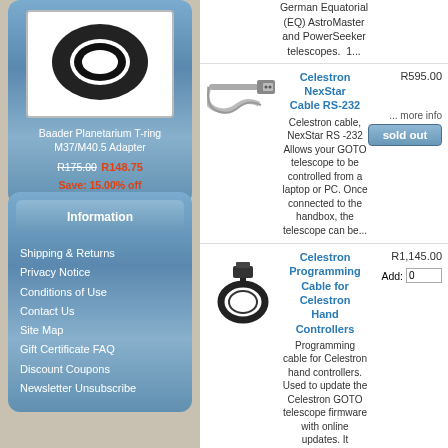[Figure (photo): T-ring adapter product photo, circular black ring on white background]
Baader Planetarium T-ring M37/M40.5 Adapter
R175.00  R148.75
Save: 15.00% off
Information
Shipping & Returns
Privacy Notice
Conditions of Use
Contact Us
Site Map
Gift Certificate FAQ
Discount Coupons
Newsletter Unsubscribe
German Equatorial (EQ) AstroMaster and PowerSeeker telescopes. 1...
Celestron NexStar Cable RS-232
R595.00
[Figure (photo): Celestron NexStar RS-232 cable product photo]
Celestron cable, NexStar RS -232 Allows your GOTO telescope to be controlled from a laptop or PC. Once connected to the handbox, the telescope can be...
... more info
sold out
Celestron Programming Cable for Celestron Hand Controllers
R1,145.00
[Figure (photo): Celestron programming cable product photo, coiled black cable with connector]
Programming cable for Celestron hand controllers. Used to update the Celestron GOTO telescope firmware with online updates. It connects the laptop/PC...
Add:  0
Celestron USB to Serial...